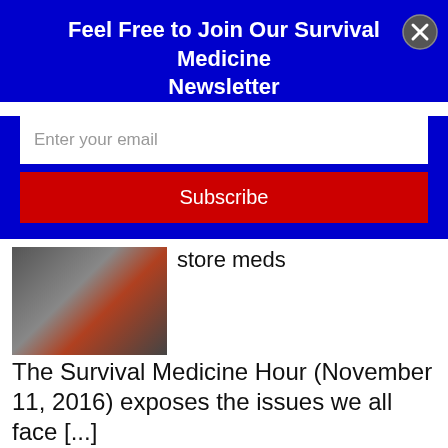Feel Free to Join Our Survival Medicine Newsletter
Enter your email
Subscribe
[Figure (photo): Cluttered storage room with various supplies and equipment]
store meds The Survival Medicine Hour (November 11, 2016) exposes the issues we all face [...]
Read More
Storing Medications